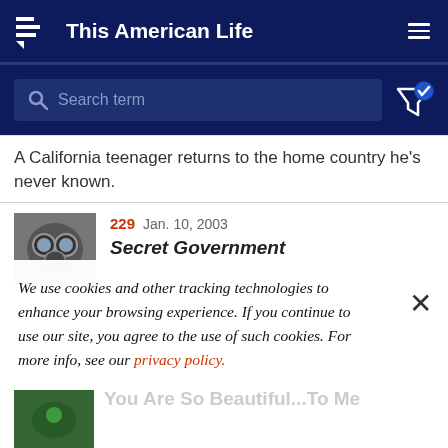This American Life
Search term
A California teenager returns to the home country he's never known.
229  Jan. 10, 2003  Secret Government
We use cookies and other tracking technologies to enhance your browsing experience. If you continue to use our site, you agree to the use of such cookies. For more info, see our privacy policy.
You Are So Beautiful...To Me